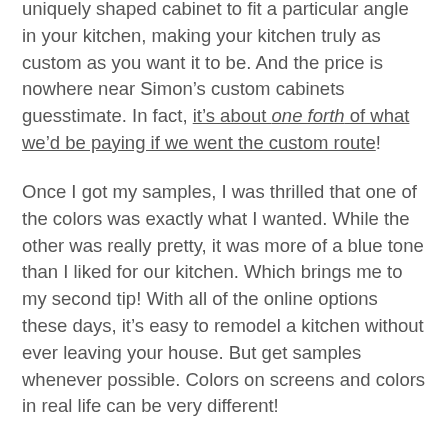uniquely shaped cabinet to fit a particular angle in your kitchen, making your kitchen truly as custom as you want it to be. And the price is nowhere near Simon’s custom cabinets guesstimate. In fact, it’s about one forth of what we’d be paying if we went the custom route!
Once I got my samples, I was thrilled that one of the colors was exactly what I wanted. While the other was really pretty, it was more of a blue tone than I liked for our kitchen. Which brings me to my second tip! With all of the online options these days, it’s easy to remodel a kitchen without ever leaving your house. But get samples whenever possible. Colors on screens and colors in real life can be very different!